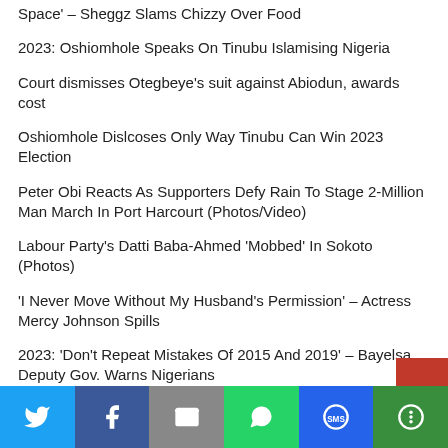Space' – Sheggz Slams Chizzy Over Food
2023: Oshiomhole Speaks On Tinubu Islamising Nigeria
Court dismisses Otegbeye's suit against Abiodun, awards cost
Oshiomhole Dislcoses Only Way Tinubu Can Win 2023 Election
Peter Obi Reacts As Supporters Defy Rain To Stage 2-Million Man March In Port Harcourt (Photos/Video)
Labour Party's Datti Baba-Ahmed 'Mobbed' In Sokoto (Photos)
'I Never Move Without My Husband's Permission' – Actress Mercy Johnson Spills
2023: 'Don't Repeat Mistakes Of 2015 And 2019' – Bayelsa Deputy Gov. Warns Nigerians
[Figure (infographic): Social share bar with Twitter, Facebook, Email, WhatsApp, SMS, and More buttons]